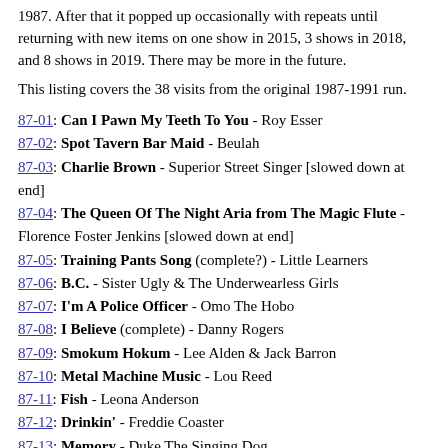1987. After that it popped up occasionally with repeats until returning with new items on one show in 2015, 3 shows in 2018, and 8 shows in 2019. There may be more in the future.
This listing covers the 38 visits from the original 1987-1991 run.
87-01: Can I Pawn My Teeth To You - Roy Esser
87-02: Spot Tavern Bar Maid - Beulah
87-03: Charlie Brown - Superior Street Singer [slowed down at end]
87-04: The Queen Of The Night Aria from The Magic Flute - Florence Foster Jenkins [slowed down at end]
87-05: Training Pants Song (complete?) - Little Learners
87-06: B.C. - Sister Ugly & The Underwearless Girls
87-07: I'm A Police Officer - Omo The Hobo
87-08: I Believe (complete) - Danny Rogers
87-09: Smokum Hokum - Lee Alden & Jack Barron
87-10: Metal Machine Music - Lou Reed
87-11: Fish - Leona Anderson
87-12: Drinkin' - Freddie Coaster
87-13: Memory - Duke The Singing Dog
87-14: Teamwork - Ernie Banks
87-15: Downtown (edit) - Mrs. Miller
87-16: Also Sprach Zarathustra - Portsmouth Sinfonia
87-17: My Pal Foot Foot - The Shaggs
87-18: I Never Seen The Buttercups Until I Seen Your Eyes